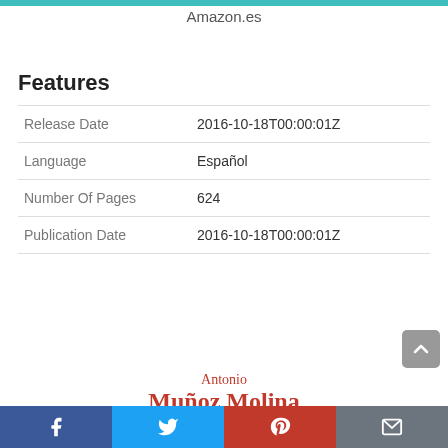Amazon.es
Features
| Release Date | 2016-10-18T00:00:01Z |
| Language | Español |
| Number Of Pages | 624 |
| Publication Date | 2016-10-18T00:00:01Z |
Antonio Muñoz Molina
Los misterios de Madrid
Facebook · Twitter · Pinterest · Mail